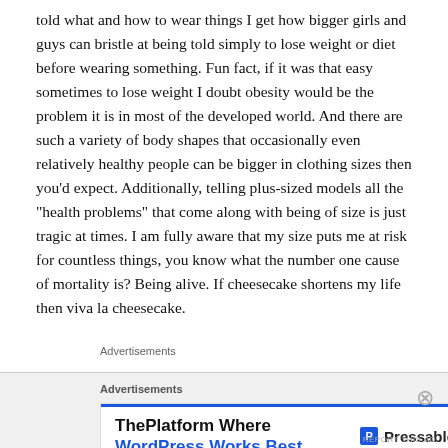told what and how to wear things I get how bigger girls and guys can bristle at being told simply to lose weight or diet before wearing something. Fun fact, if it was that easy sometimes to lose weight I doubt obesity would be the problem it is in most of the developed world. And there are such a variety of body shapes that occasionally even relatively healthy people can be bigger in clothing sizes then you'd expect. Additionally, telling plus-sized models all the “health problems” that come along with being of size is just tragic at times. I am fully aware that my size puts me at risk for countless things, you know what the number one cause of mortality is? Being alive. If cheesecake shortens my life then viva la cheesecake.
Advertisements
[Figure (other): Advertisement banner for Pressable: 'ThePlatform Where WordPress Works Best' with Pressable logo]